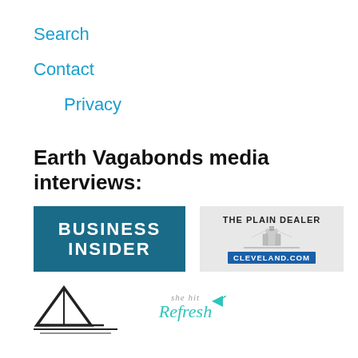Search
Contact
Privacy
Earth Vagabonds media interviews:
[Figure (logo): Business Insider logo - white text on teal/dark blue background]
[Figure (logo): The Plain Dealer cleveland.com logo - gray background with building graphic and blue cleveland.com bar]
[Figure (logo): American Eagle Academy logo - triangular mountain/tent mark with horizontal lines below]
[Figure (logo): She Hit Refresh logo - teal cursive script with small airplane icon]